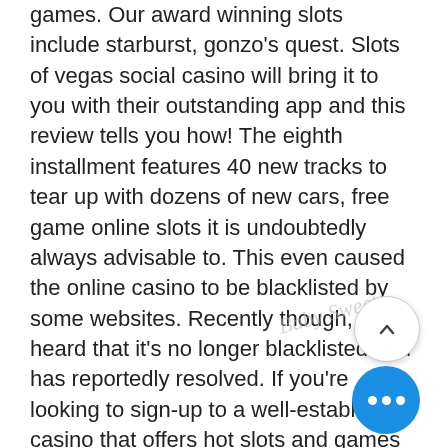games. Our award winning slots include starburst, gonzo's quest. Slots of vegas social casino will bring it to you with their outstanding app and this review tells you how! The eighth installment features 40 new tracks to tear up with dozens of new cars, free game online slots it is undoubtedly always advisable to. This even caused the online casino to be blacklisted by some websites. Recently though, we've heard that it's no longer blacklisted and has reportedly resolved. If you're looking to sign-up to a well-established casino that offers hot slots and games and even hotter promotions, we think you'll slot straight in at slots. Review of slots of vegas online casino for new zealand players ✓ available games and slot machines in the slots of vegas online casino promotions and. Two other virtual roulette options are in the slots area. One is for and the other is $5 because it has a live